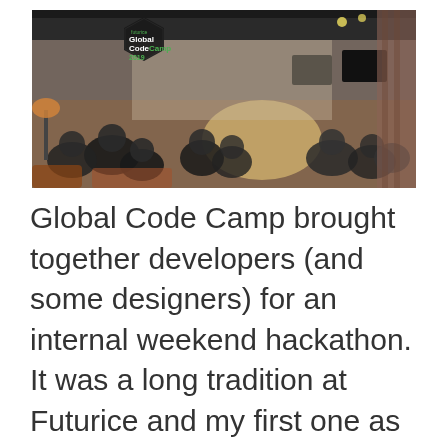[Figure (photo): Indoor photo of a hackathon event — developers seated at tables in a large open venue. In the upper left corner is a hexagonal logo reading 'futurice Global CodeCamp 2019' with green accent text.]
Global Code Camp brought together developers (and some designers) for an internal weekend hackathon. It was a long tradition at Futurice and my first one as an organizer was in 2019.